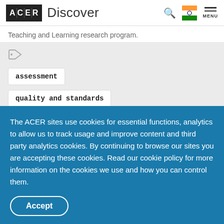ACER Discover
Teaching and Learning research program.
assessment
quality and standards
The ACER sites use cookies for essential functions, analytics to allow us to track usage and improve content and third party analytics cookies. By continuing to browse our sites you are accepting these cookies. Read our cookie policy for more information on the cookies we use and how you can control them.
Accept